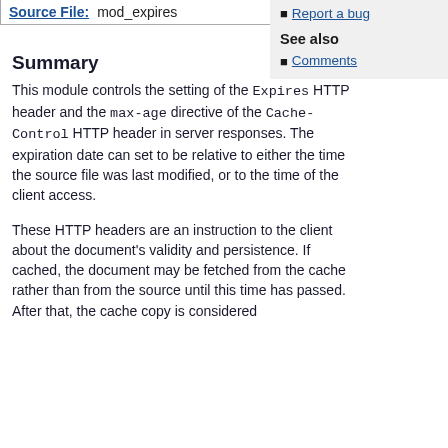| Source File: | mod_expires |
| --- | --- |
Report a bug
See also
Comments
Summary
This module controls the setting of the Expires HTTP header and the max-age directive of the Cache-Control HTTP header in server responses. The expiration date can set to be relative to either the time the source file was last modified, or to the time of the client access.
These HTTP headers are an instruction to the client about the document's validity and persistence. If cached, the document may be fetched from the cache rather than from the source until this time has passed. After that, the cache copy is considered